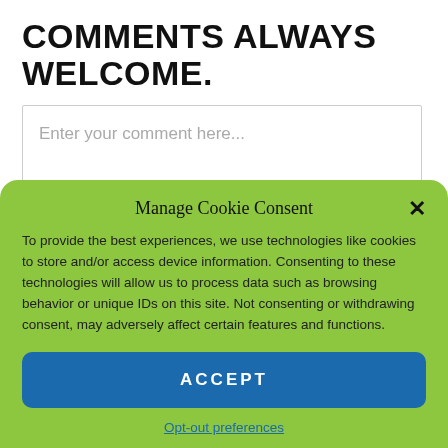COMMENTS ALWAYS WELCOME.
[Figure (screenshot): Comment text input box with placeholder text 'Enter your comment here...']
This site uses Akismet to reduce spam. Learn how your comment data is processed
Manage Cookie Consent
To provide the best experiences, we use technologies like cookies to store and/or access device information. Consenting to these technologies will allow us to process data such as browsing behavior or unique IDs on this site. Not consenting or withdrawing consent, may adversely affect certain features and functions.
ACCEPT
Opt-out preferences